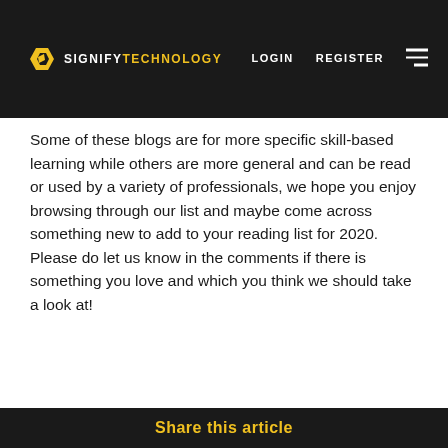SIGNIFY TECHNOLOGY | LOGIN | REGISTER
Some of these blogs are for more specific skill-based learning while others are more general and can be read or used by a variety of professionals, we hope you enjoy browsing through our list and maybe come across something new to add to your reading list for 2020. Please do let us know in the comments if there is something you love and which you think we should take a look at!
Share this article